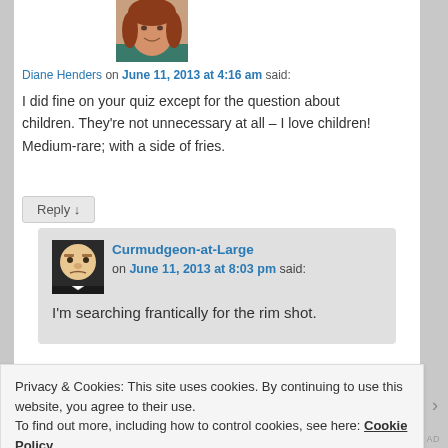[Figure (photo): Avatar photo of Diane Henders, a woman with auburn hair]
Diane Henders on June 11, 2013 at 4:16 am said:
I did fine on your quiz except for the question about children. They're not unnecessary at all – I love children! Medium-rare; with a side of fries.
Reply ↓
[Figure (photo): Avatar photo of Curmudgeon-at-Large, a Muppet-like character]
Curmudgeon-at-Large on June 11, 2013 at 8:03 pm said:
I'm searching frantically for the rim shot.
Privacy & Cookies: This site uses cookies. By continuing to use this website, you agree to their use.
To find out more, including how to control cookies, see here: Cookie Policy
Close and accept